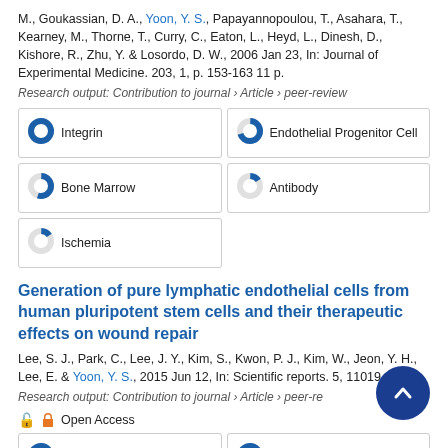M., Goukassian, D. A., Yoon, Y. S., Papayannopoulou, T., Asahara, T., Kearney, M., Thorne, T., Curry, C., Eaton, L., Heyd, L., Dinesh, D., Kishore, R., Zhu, Y. & Losordo, D. W., 2006 Jan 23, In: Journal of Experimental Medicine. 203, 1, p. 153-163 11 p.
Research output: Contribution to journal › Article › peer-review
[Figure (donut-chart): Keyword badges with donut chart icons: Integrin 100%, Endothelial Progenitor Cell ~70%, Bone Marrow ~55%, Antibody ~15%, Ischemia ~15%]
Generation of pure lymphatic endothelial cells from human pluripotent stem cells and their therapeutic effects on wound repair
Lee, S. J., Park, C., Lee, J. Y., Kim, S., Kwon, P. J., Kim, W., Jeon, Y. H., Lee, E. & Yoon, Y. S., 2015 Jun 12, In: Scientific reports. 5, 11019.
Research output: Contribution to journal › Article › peer-review
Open Access
[Figure (donut-chart): Keyword badges partially visible: Lymph Duct 100%, Pluripotent Stem Cells 100%]